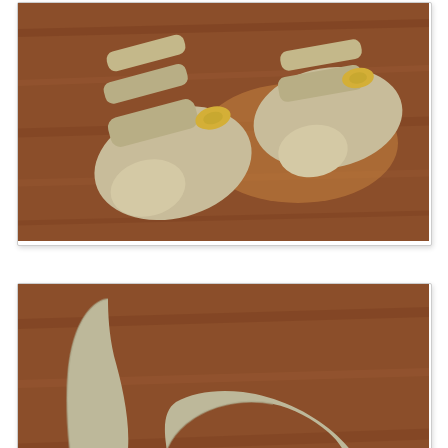[Figure (photo): Photo of a pair of beige/gold strappy high-heel sandals viewed from above on a wooden surface]
[Figure (photo): Photo of a beige/gold strappy high-heel sandal viewed from the back/side showing the stiletto heel on a wooden surface]
Last but not least, a pair of insanely high (for me, anyway) black, diamante-encrusted platform heels. Truth be told, I'm not sure if I can actually wear these for long, they're quite high (I think it's about 4.5 inches). I bought these becau...